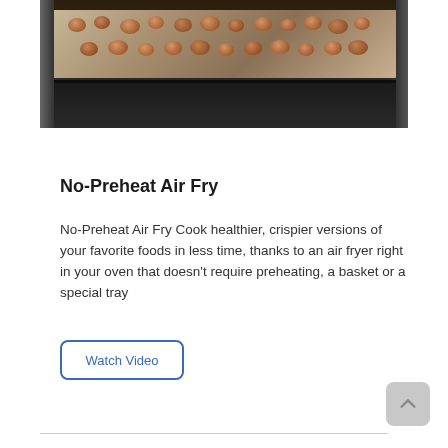[Figure (photo): An oven with a baking tray filled with food items (shrimp/appetizers) visible inside the oven interior]
No-Preheat Air Fry
No-Preheat Air Fry Cook healthier, crispier versions of your favorite foods in less time, thanks to an air fryer right in your oven that doesn't require preheating, a basket or a special tray
Watch Video